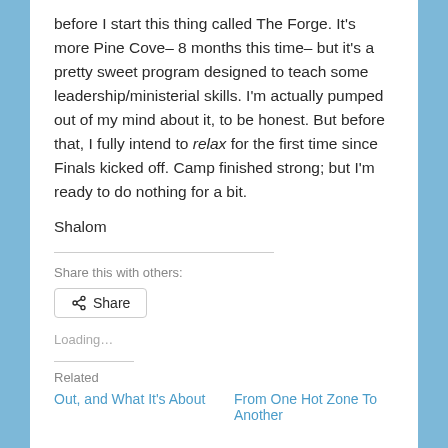before I start this thing called The Forge. It’s more Pine Cove– 8 months this time– but it’s a pretty sweet program designed to teach some leadership/ministerial skills. I’m actually pumped out of my mind about it, to be honest. But before that, I fully intend to relax for the first time since Finals kicked off. Camp finished strong; but I’m ready to do nothing for a bit.
Shalom
Share this with others:
[Figure (other): Share button with share icon]
Loading...
Related
Out, and What It’s About
From One Hot Zone To Another